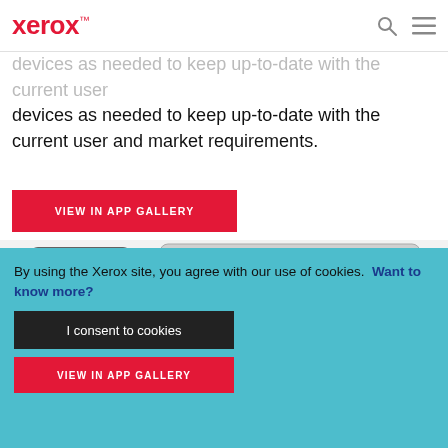xerox™
devices as needed to keep up-to-date with the current user and market requirements.
VIEW IN APP GALLERY
[Figure (photo): A smartphone next to a Xerox printer/copier device. The printer screen shows a QR code with Xerox branding and instructions for scanning to access applications.]
By using the Xerox site, you agree with our use of cookies. Want to know more?
I consent to cookies
VIEW IN APP GALLERY